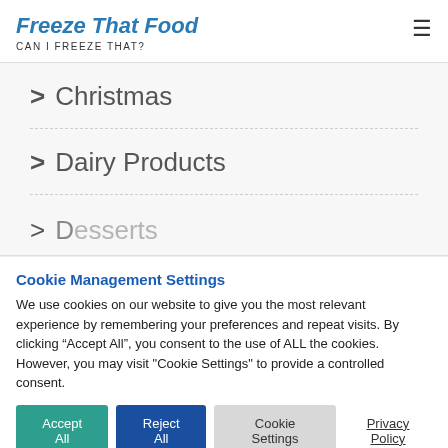Freeze That Food
CAN I FREEZE THAT?
> Christmas
> Dairy Products
> Desserts (partial, clipped)
Cookie Management Settings
We use cookies on our website to give you the most relevant experience by remembering your preferences and repeat visits. By clicking “Accept All”, you consent to the use of ALL the cookies. However, you may visit "Cookie Settings" to provide a controlled consent.
Accept All | Reject All | Cookie Settings | Privacy Policy